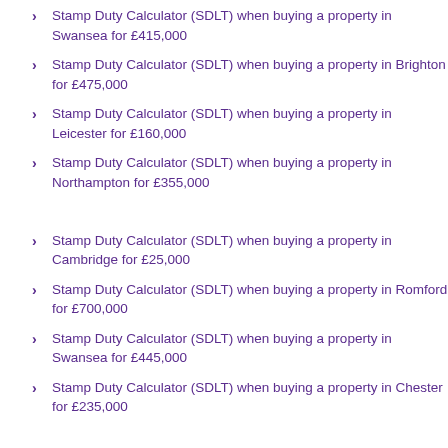Stamp Duty Calculator (SDLT) when buying a property in Swansea for £415,000
Stamp Duty Calculator (SDLT) when buying a property in Brighton for £475,000
Stamp Duty Calculator (SDLT) when buying a property in Leicester for £160,000
Stamp Duty Calculator (SDLT) when buying a property in Northampton for £355,000
Stamp Duty Calculator (SDLT) when buying a property in Cambridge for £25,000
Stamp Duty Calculator (SDLT) when buying a property in Romford for £700,000
Stamp Duty Calculator (SDLT) when buying a property in Swansea for £445,000
Stamp Duty Calculator (SDLT) when buying a property in Chester for £235,000